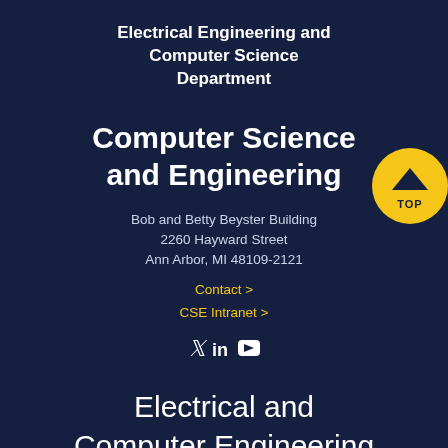Electrical Engineering and Computer Science Department
Computer Science and Engineering
Bob and Betty Beyster Building
2260 Hayward Street
Ann Arbor, MI 48109-2121
Contact >
CSE Intranet >
[Figure (other): Social media icons: Twitter, LinkedIn, YouTube]
Electrical and Computer Engineering
EECS Building
[Figure (other): Yellow circular TOP button with chevron arrow pointing up]